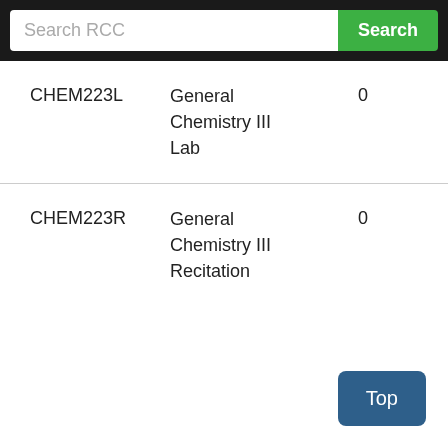[Figure (screenshot): Search bar with text 'Search RCC' and a green 'Search' button]
| Code | Name | Credits |
| --- | --- | --- |
| CHEM223L | General Chemistry III Lab | 0 |
| CHEM223R | General Chemistry III Recitation | 0 |
Top